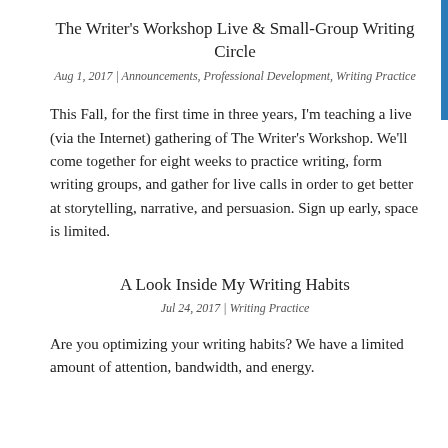The Writer's Workshop Live & Small-Group Writing Circle
Aug 1, 2017 | Announcements, Professional Development, Writing Practice
This Fall, for the first time in three years, I'm teaching a live (via the Internet) gathering of The Writer's Workshop. We'll come together for eight weeks to practice writing, form writing groups, and gather for live calls in order to get better at storytelling, narrative, and persuasion. Sign up early, space is limited.
A Look Inside My Writing Habits
Jul 24, 2017 | Writing Practice
Are you optimizing your writing habits? We have a limited amount of attention, bandwidth, and energy.